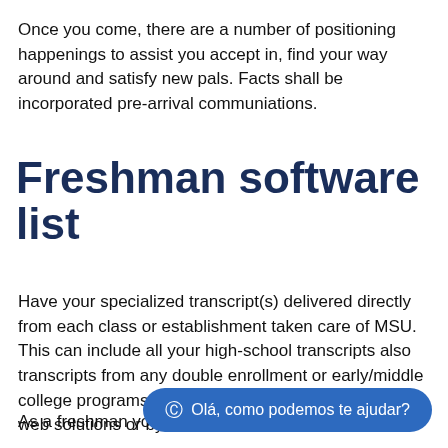Once you come, there are a number of positioning happenings to assist you accept in, find your way around and satisfy new pals. Facts shall be incorporated pre-arrival communiations.
Freshman software list
Have your specialized transcript(s) delivered directly from each class or establishment taken care of MSU. This can include all your high-school transcripts also transcripts from any double enrollment or early/middle college programs. These could getting sent through web solutions or by U.S. email.
As a freshman you don't have to formally declare
[Figure (other): Chat widget button with WhatsApp icon and text 'Olá, como podemos te ajudar?' in a rounded blue pill shape]